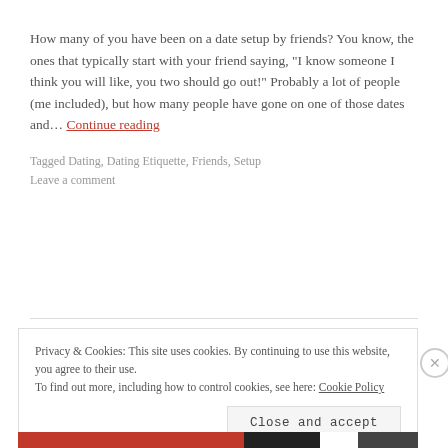How many of you have been on a date setup by friends? You know, the ones that typically start with your friend saying, "I know someone I think you will like, you two should go out!" Probably a lot of people (me included), but how many people have gone on one of those dates and… Continue reading
Tagged Dating, Dating Etiquette, Friends, Setup
Leave a comment
Privacy & Cookies: This site uses cookies. By continuing to use this website, you agree to their use. To find out more, including how to control cookies, see here: Cookie Policy
Close and accept